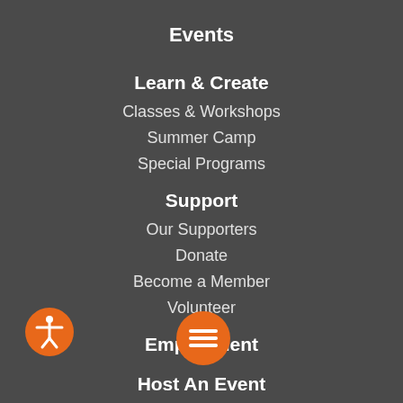Events
Learn & Create
Classes & Workshops
Summer Camp
Special Programs
Support
Our Supporters
Donate
Become a Member
Volunteer
Employment
Host An Event
Our Community Impact
Contact
[Figure (illustration): Orange accessibility icon button (person in circle) at bottom left]
[Figure (illustration): Orange hamburger menu button with three horizontal lines at bottom center]